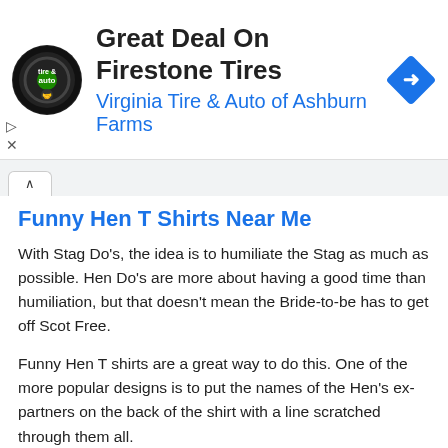[Figure (other): Advertisement banner for Virginia Tire & Auto of Ashburn Farms featuring a circular tire & auto logo, bold headline 'Great Deal On Firestone Tires', blue subtext 'Virginia Tire & Auto of Ashburn Farms', and a blue diamond navigation icon on the right.]
Funny Hen T Shirts Near Me
With Stag Do’s, the idea is to humiliate the Stag as much as possible. Hen Do’s are more about having a good time than humiliation, but that doesn’t mean the Bride-to-be has to get off Scot Free.
Funny Hen T shirts are a great way to do this. One of the more popular designs is to put the names of the Hen’s ex-partners on the back of the shirt with a line scratched through them all.
Finish it off with the name of the person they intend to marry and a question mark next to the name!
If that is a step too far then you can still get away with something equally funny but not as outrageous. We are able to apply any combination of photographs, slogans, phrases and nicknames to